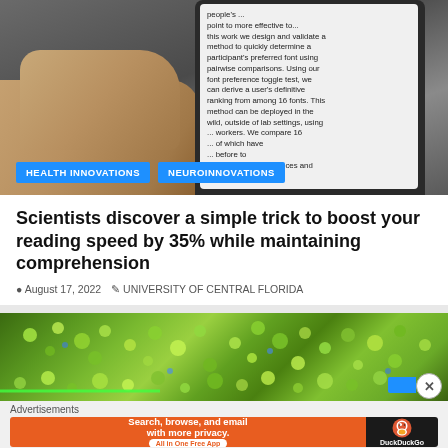[Figure (photo): Person holding a smartphone displaying text about font preference study. Blue category tags overlay the bottom of the image.]
Scientists discover a simple trick to boost your reading speed by 35% while maintaining comprehension
August 17, 2022  UNIVERSITY OF CENTRAL FLORIDA
[Figure (photo): Close-up macro photo of green glittering jewels or beads arranged in a pattern, with blue accent and orange background visible.]
Advertisements
[Figure (screenshot): DuckDuckGo advertisement banner: Search, browse, and email with more privacy. All in One Free App. DuckDuckGo logo on dark right side.]